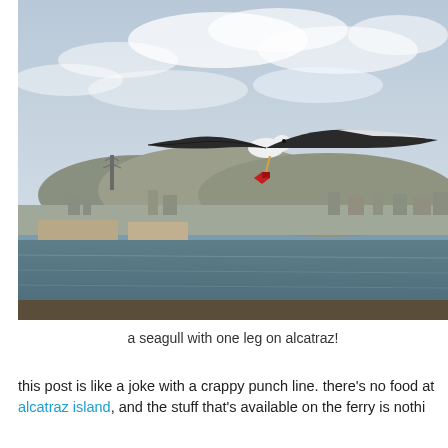[Figure (photo): A seagull with one leg flying in mid-air over the San Francisco Bay, with the city of San Francisco visible in the background across the water. The seagull has its wings fully spread and appears to be holding something red in its beak or foot. Overcast sky with clouds above.]
a seagull with one leg on alcatraz!
this post is like a joke with a crappy punch line. there's no food at alcatraz island, and the stuff that's available on the ferry is nothi